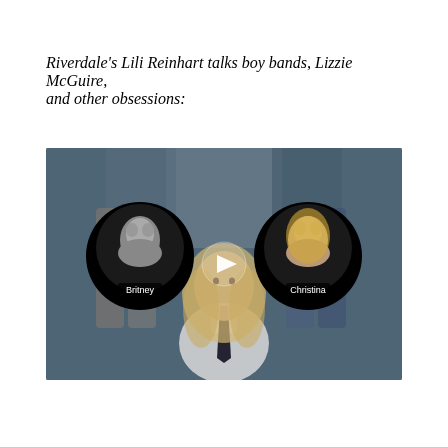Riverdale's Lili Reinhart talks boy bands, Lizzie McGuire, and other obsessions:
[Figure (screenshot): Video thumbnail showing a blonde woman (Lili Reinhart) in a white collared shirt with dark tie, standing in a bedroom. Two circular portrait badges flank her — on the left labeled 'Britney' (black and white photo) and on the right labeled 'Christina' (color photo). A white play button triangle is centered over the image.]